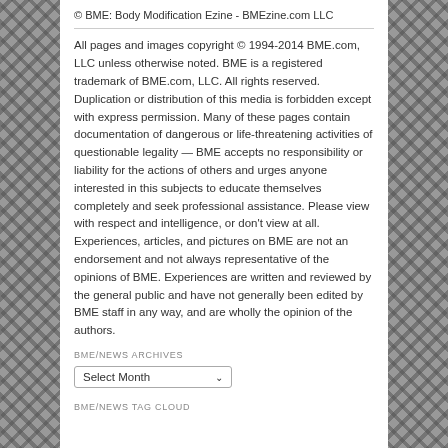© BME: Body Modification Ezine - BMEzine.com LLC
All pages and images copyright © 1994-2014 BME.com, LLC unless otherwise noted. BME is a registered trademark of BME.com, LLC. All rights reserved. Duplication or distribution of this media is forbidden except with express permission. Many of these pages contain documentation of dangerous or life-threatening activities of questionable legality — BME accepts no responsibility or liability for the actions of others and urges anyone interested in this subjects to educate themselves completely and seek professional assistance. Please view with respect and intelligence, or don't view at all. Experiences, articles, and pictures on BME are not an endorsement and not always representative of the opinions of BME. Experiences are written and reviewed by the general public and have not generally been edited by BME staff in any way, and are wholly the opinion of the authors.
BME/NEWS ARCHIVES
Select Month
BME/NEWS TAG CLOUD